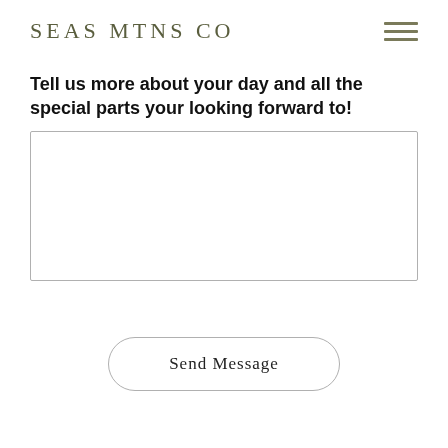SEAS MTNS CO
Tell us more about your day and all the special parts your looking forward to!
[Figure (other): Large empty text area input box for user to type a message]
Send Message